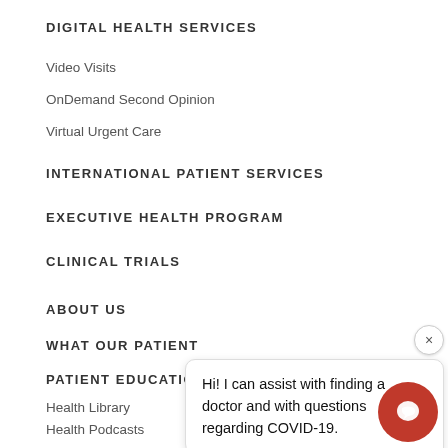DIGITAL HEALTH SERVICES
Video Visits
OnDemand Second Opinion
Virtual Urgent Care
INTERNATIONAL PATIENT SERVICES
EXECUTIVE HEALTH PROGRAM
CLINICAL TRIALS
ABOUT US
WHAT OUR PATIENT
PATIENT EDUCATIO
Health Library
Health Podcasts
LGBTQ+ Community Healthcare Resources
Patient Care Blog
Patient Resource Center
Hi! I can assist with finding a doctor and with questions regarding COVID-19.